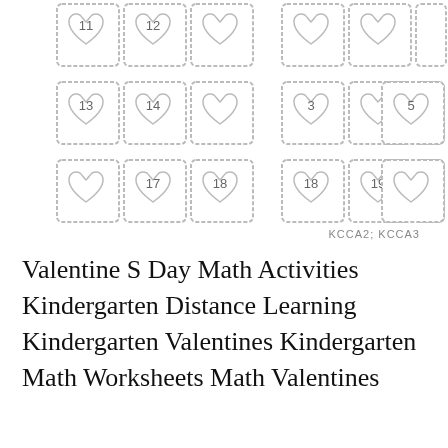[Figure (illustration): Valentine's Day math worksheet showing two rows of stamp-like cards with scalloped borders, each containing a heart outline. Row 1 (partial, top): stamps numbered 11, 12, and blank, then 18, 18 (partial). Row 2: stamps numbered 13, 14, blank, then 3, blank, 5. Row 3: blank, 17, 18, then 18, 19, blank.]
KCCA2; KCCA3
Valentine S Day Math Activities Kindergarten Distance Learning Kindergarten Valentines Kindergarten Math Worksheets Math Valentines